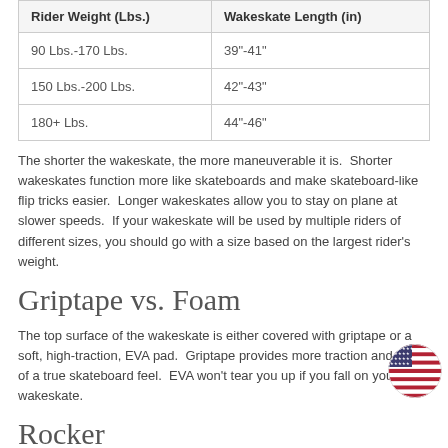| Rider Weight (Lbs.) | Wakeskate Length (in) |
| --- | --- |
| 90 Lbs.-170 Lbs. | 39"-41" |
| 150 Lbs.-200 Lbs. | 42"-43" |
| 180+ Lbs. | 44"-46" |
The shorter the wakeskate, the more maneuverable it is.  Shorter wakeskates function more like skateboards and make skateboard-like flip tricks easier.  Longer wakeskates allow you to stay on plane at slower speeds.  If your wakeskate will be used by multiple riders of different sizes, you should go with a size based on the largest rider's weight.
Griptape vs. Foam
The top surface of the wakeskate is either covered with griptape or a soft, high-traction, EVA pad.  Griptape provides more traction and more of a true skateboard feel.  EVA won't tear you up if you fall on your wakeskate.
Rocker